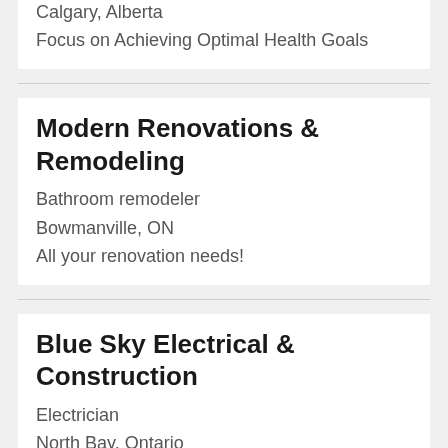Calgary, Alberta
Focus on Achieving Optimal Health Goals
Modern Renovations & Remodeling
Bathroom remodeler
Bowmanville, ON
All your renovation needs!
Blue Sky Electrical & Construction
Electrician
North Bay, Ontario